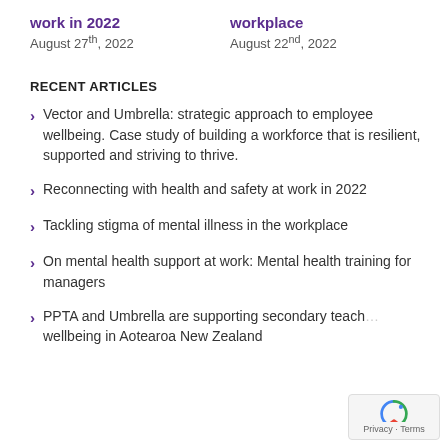work in 2022
August 27th, 2022
workplace
August 22nd, 2022
RECENT ARTICLES
Vector and Umbrella: strategic approach to employee wellbeing. Case study of building a workforce that is resilient, supported and striving to thrive.
Reconnecting with health and safety at work in 2022
Tackling stigma of mental illness in the workplace
On mental health support at work: Mental health training for managers
PPTA and Umbrella are supporting secondary teachers' wellbeing in Aotearoa New Zealand